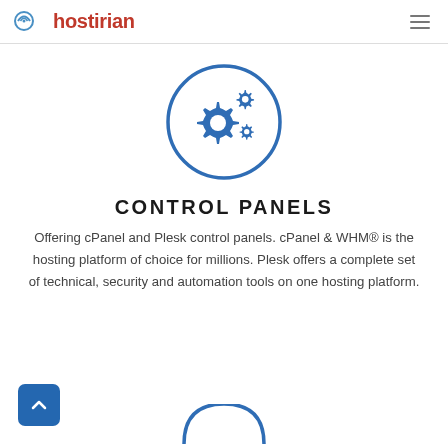hostirian
[Figure (illustration): Blue circle outline containing three gear/cog icons in blue, representing control panels or settings]
CONTROL PANELS
Offering cPanel and Plesk control panels. cPanel & WHM® is the hosting platform of choice for millions. Plesk offers a complete set of technical, security and automation tools on one hosting platform.
[Figure (illustration): Blue square button with white upward chevron arrow (back to top button) in bottom left corner]
[Figure (illustration): Partially visible blue circle icon at the bottom center of the page, suggesting the next section's icon]